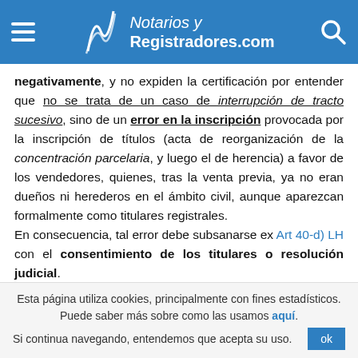Notarios y Registradores.com
negativamente, y no expiden la certificación por entender que no se trata de un caso de interrupción de tracto sucesivo, sino de un error en la inscripción provocada por la inscripción de títulos (acta de reorganización de la concentración parcelaria, y luego el de herencia) a favor de los vendedores, quienes, tras la venta previa, ya no eran dueños ni herederos en el ámbito civil, aunque aparezcan formalmente como titulares registrales.
En consecuencia, tal error debe subsanarse ex Art 40-d) LH con el consentimiento de los titulares o resolución judicial.
Esta página utiliza cookies, principalmente con fines estadísticos. Puede saber más sobre como las usamos aquí. Si continua navegando, entendemos que acepta su uso.